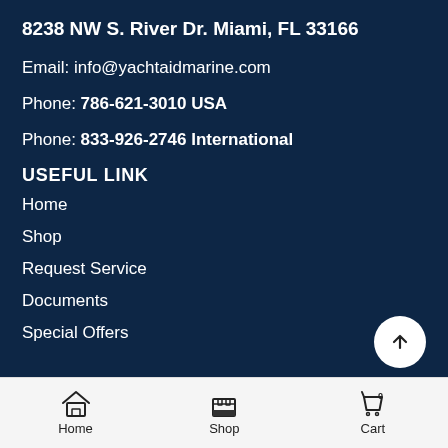8238 NW S. River Dr. Miami, FL 33166
Email: info@yachtaidmarine.com
Phone: 786-621-3010 USA
Phone: 833-926-2746 International
USEFUL LINK
Home
Shop
Request Service
Documents
Special Offers
Home  Shop  Cart 0